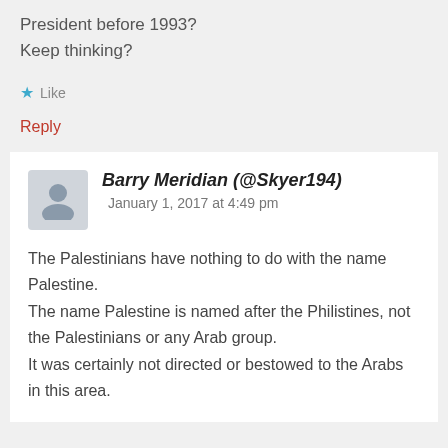President before 1993?
Keep thinking?
Like
Reply
Barry Meridian (@Skyer194) January 1, 2017 at 4:49 pm
The Palestinians have nothing to do with the name Palestine.
The name Palestine is named after the Philistines, not the Palestinians or any Arab group.
It was certainly not directed or bestowed to the Arabs in this area.